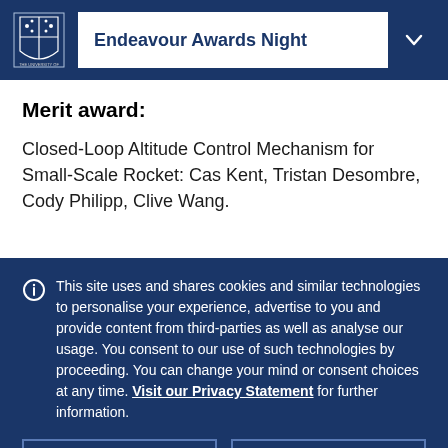Endeavour Awards Night
Merit award:
Closed-Loop Altitude Control Mechanism for Small-Scale Rocket: Cas Kent, Tristan Desombre, Cody Philipp, Clive Wang.
This site uses and shares cookies and similar technologies to personalise your experience, advertise to you and provide content from third-parties as well as analyse our usage. You consent to our use of such technologies by proceeding. You can change your mind or consent choices at any time. Visit our Privacy Statement for further information.